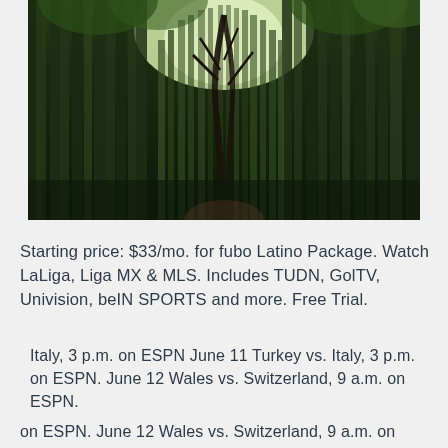[Figure (photo): Looking up through a tall bamboo forest with a single bare tree trunk visible, light filtering through the tops of the bamboo stalks creating a green and dark atmospheric scene]
Starting price: $33/mo. for fubo Latino Package. Watch LaLiga, Liga MX & MLS. Includes TUDN, GolTV, Univision, beIN SPORTS and more. Free Trial.
Italy, 3 p.m. on ESPN June 11 Turkey vs. Italy, 3 p.m. on ESPN. June 12 Wales vs. Switzerland, 9 a.m. on ESPN.
on ESPN. June 12 Wales vs. Switzerland, 9 a.m. on